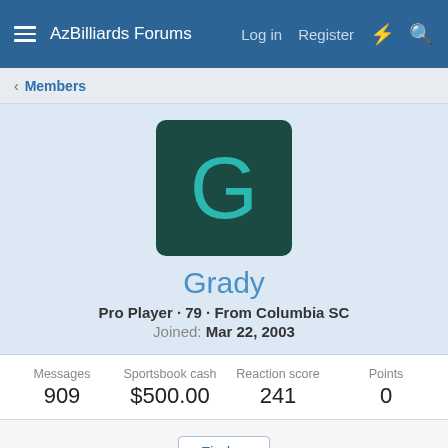AzBilliards Forums  Log in  Register
Members
[Figure (illustration): Avatar image: dark teal square with rounded corners containing a large teal letter G]
Grady
Pro Player · 79 · From Columbia SC
Joined: Mar 22, 2003
| Messages | Sportsbook cash | Reaction score | Points |
| --- | --- | --- | --- |
| 909 | $500.00 | 241 | 0 |
Find ▾
Profile posts  Latest activity  Postings  About